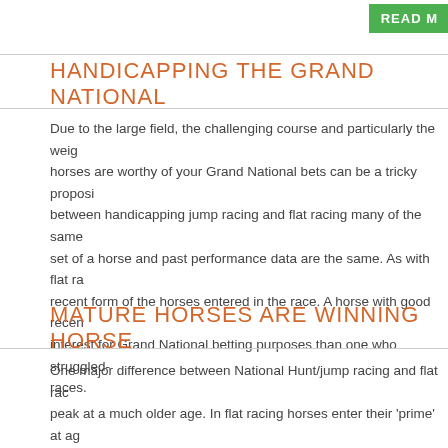[Figure (other): Green READ MORE button in top right corner]
HANDICAPPING THE GRAND NATIONAL
Due to the large field, the challenging course and particularly the weight horses are worthy of your Grand National bets can be a tricky proposition between handicapping jump racing and flat racing many of the same set of a horse and past performance data are the same. As with flat ra recent form of the horses entered in the race. A horse with good recen interest for Grand National betting purposes than one who struggled- races.
MATURE HORSES ARE WINNING HORSE
One major difference between National Hunt/jump racing and flat rac peak at a much older age. In flat racing horses enter their 'prime' at ag age 2 or 3. Contrast that with the last 10 winners of the Grand Nation age. A horse younger than 8 hasn't won the Grand National since 194 won. On the other end of the spectrum, horses over the age of 12 ar